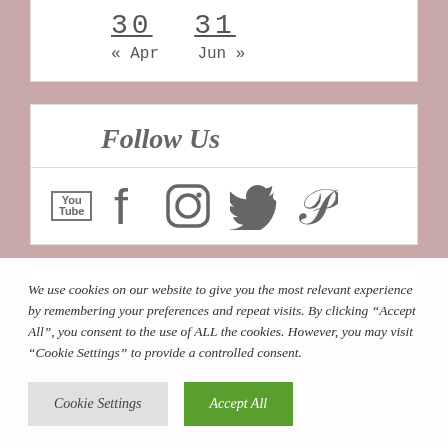30  31
« Apr   Jun »
Follow Us
[Figure (infographic): Social media icons: YouTube, Facebook, Instagram, Twitter, Pinterest]
We use cookies on our website to give you the most relevant experience by remembering your preferences and repeat visits. By clicking "Accept All", you consent to the use of ALL the cookies. However, you may visit "Cookie Settings" to provide a controlled consent.
Cookie Settings | Accept All